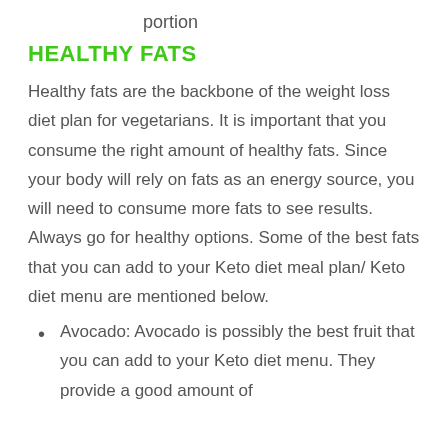portion
HEALTHY FATS
Healthy fats are the backbone of the weight loss diet plan for vegetarians. It is important that you consume the right amount of healthy fats. Since your body will rely on fats as an energy source, you will need to consume more fats to see results. Always go for healthy options. Some of the best fats that you can add to your Keto diet meal plan/ Keto diet menu are mentioned below.
Avocado: Avocado is possibly the best fruit that you can add to your Keto diet menu. They provide a good amount of